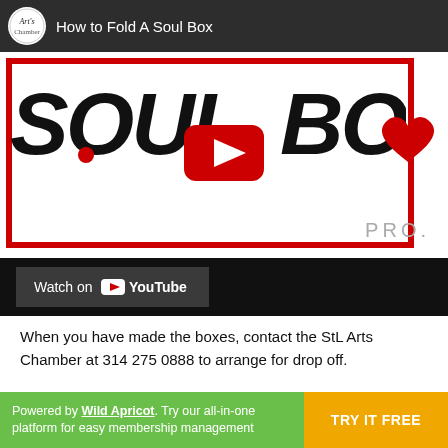[Figure (screenshot): YouTube video thumbnail for 'How to Fold A Soul Box' showing the Soul Box Project logo with large handwritten SOUL BOX text, a red heart, a red play button overlay, red border, and 'Watch on YouTube' bar at the bottom.]
When you have made the boxes, contact the StL Arts Chamber at 314 275 0888 to arrange for drop off.
Thank you!
Powered by Wild Apricot. Try our all-in-one platform for easy membership management   TRY IT FREE